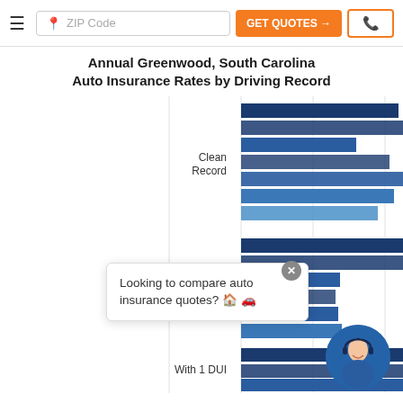ZIP Code | GET QUOTES → | phone
Annual Greenwood, South Carolina Auto Insurance Rates by Driving Record
[Figure (bar-chart): Horizontal grouped bar chart showing auto insurance rates by driving record category (Clean Record, With 1 Accident, With 1 DUI) with multiple insurers per category shown as dark blue and medium blue bars.]
Looking to compare auto insurance quotes? 🏠 🚗